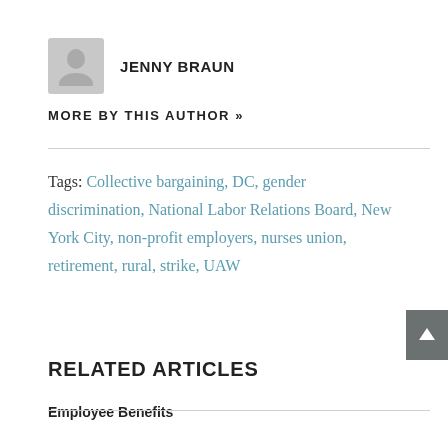[Figure (illustration): Gray placeholder avatar silhouette icon]
JENNY BRAUN
MORE BY THIS AUTHOR »
Tags: Collective bargaining, DC, gender discrimination, National Labor Relations Board, New York City, non-profit employers, nurses union, retirement, rural, strike, UAW
RELATED ARTICLES
Employee Benefits